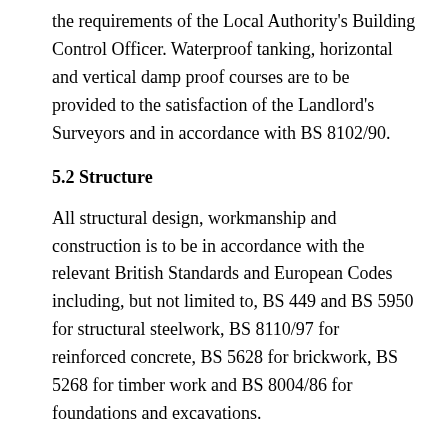the requirements of the Local Authority's Building Control Officer. Waterproof tanking, horizontal and vertical damp proof courses are to be provided to the satisfaction of the Landlord's Surveyors and in accordance with BS 8102/90.
5.2 Structure
All structural design, workmanship and construction is to be in accordance with the relevant British Standards and European Codes including, but not limited to, BS 449 and BS 5950 for structural steelwork, BS 8110/97 for reinforced concrete, BS 5628 for brickwork, BS 5268 for timber work and BS 8004/86 for foundations and excavations.
New structural steelwork in existing external walls is to be encased in steel mesh reinforced concrete